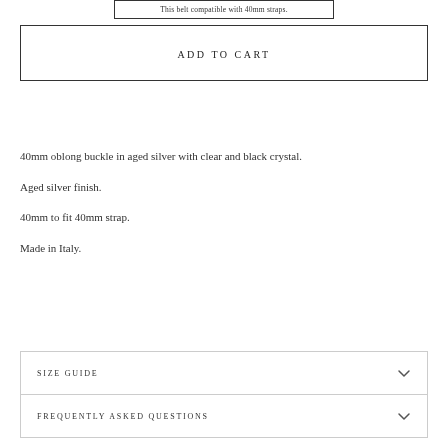This belt compatible with 40mm straps.
ADD TO CART
40mm oblong buckle in aged silver with clear and black crystal.
Aged silver finish.
40mm to fit 40mm strap.
Made in Italy.
SIZE GUIDE
FREQUENTLY ASKED QUESTIONS